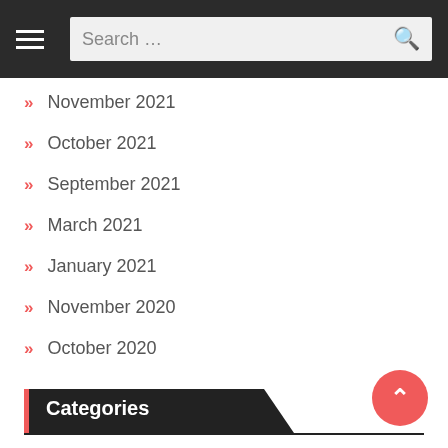Search ...
November 2021
October 2021
September 2021
March 2021
January 2021
November 2020
October 2020
Categories
business
casino
Entrepreneur